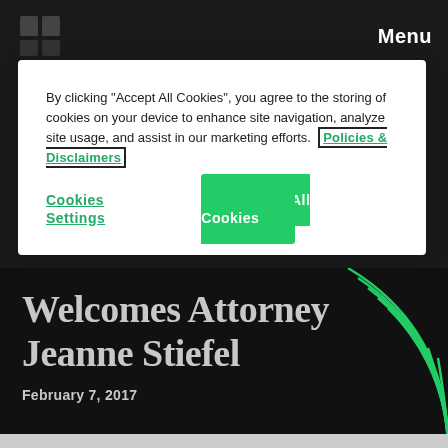Menu
By clicking "Accept All Cookies", you agree to the storing of cookies on your device to enhance site navigation, analyze site usage, and assist in our marketing efforts. Policies & Disclaimers
Cookies Settings
Accept All Cookies
Welcomes Attorney Jeanne Stiefel
February 7, 2017